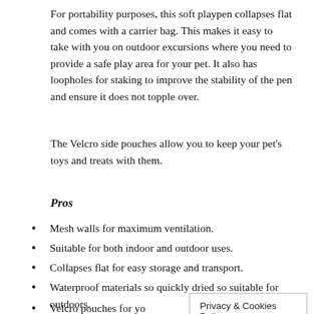For portability purposes, this soft playpen collapses flat and comes with a carrier bag. This makes it easy to take with you on outdoor excursions where you need to provide a safe play area for your pet. It also has loopholes for staking to improve the stability of the pen and ensure it does not topple over.
The Velcro side pouches allow you to keep your pet's toys and treats with them.
Pros
Mesh walls for maximum ventilation.
Suitable for both indoor and outdoor uses.
Collapses flat for easy storage and transport.
Waterproof materials so quickly dried so suitable for outdoors.
Velcro pouches for yo
Privacy & Cookies Policy